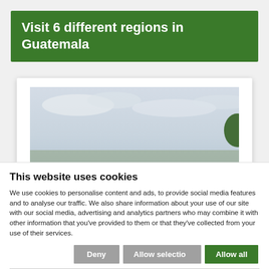Visit 6 different regions in Guatemala
[Figure (photo): Photograph of a tropical landscape with palm trees against a pale sky, partially visible beneath a cookie consent overlay.]
This website uses cookies
We use cookies to personalise content and ads, to provide social media features and to analyse our traffic. We also share information about your use of our site with our social media, advertising and analytics partners who may combine it with other information that you've provided to them or that they've collected from your use of their services.
Deny | Allow selection | Allow all
Necessary  Preferences  Statistics  Marketing  Show details